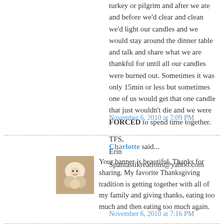turkey or pilgrim and after we ate and before we'd clear and clean we'd light our candles and we would stay around the dinner table and talk and share what we are thankful for until all our candles were burned out. Sometimes it was only 15min or less but sometimes one of us would get that one candle that just wouldn't die and we were FORCED to spend time together.

TFS,
Erin
Spantastikreations@yahoo.com
November 6, 2010 at 7:09 PM
Charlotte said...
[Figure (photo): Avatar photo of a person with dogs]
Your banner is beautiful. Thanks for sharing. My favorite Thanksgiving tradition is getting together with all of my family and giving thanks, eating too much and then eating too much again.
November 6, 2010 at 7:16 PM